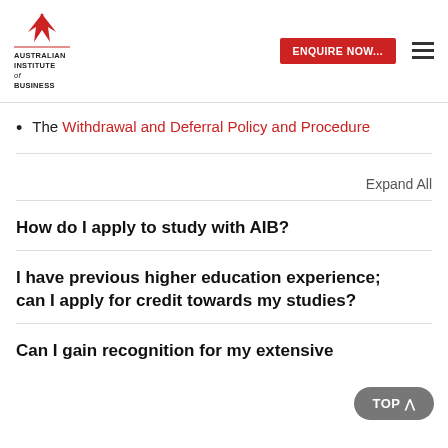[Figure (logo): Australian Institute of Business logo with red stylized bird/wings icon above the text 'AUSTRALIAN INSTITUTE of BUSINESS']
The Withdrawal and Deferral Policy and Procedure
Expand All
How do I apply to study with AIB?
I have previous higher education experience; can I apply for credit towards my studies?
Can I gain recognition for my extensive